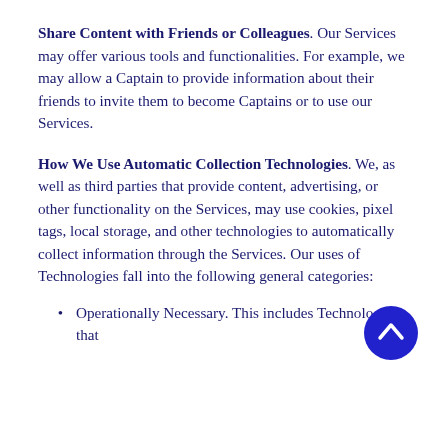Share Content with Friends or Colleagues. Our Services may offer various tools and functionalities. For example, we may allow a Captain to provide information about their friends to invite them to become Captains or to use our Services.
How We Use Automatic Collection Technologies. We, as well as third parties that provide content, advertising, or other functionality on the Services, may use cookies, pixel tags, local storage, and other technologies to automatically collect information through the Services. Our uses of Technologies fall into the following general categories:
Operationally Necessary. This includes Technologies that